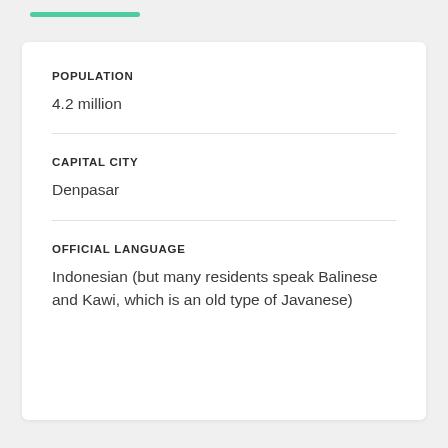POPULATION
4.2 million
CAPITAL CITY
Denpasar
OFFICIAL LANGUAGE
Indonesian (but many residents speak Balinese and Kawi, which is an old type of Javanese)